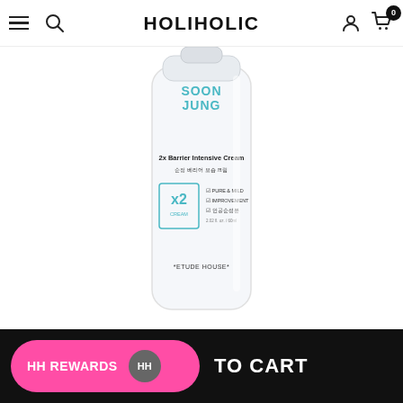HOLIHOLIC
[Figure (photo): Etude House Soon Jung 2x Barrier Intensive Cream tube product photo — white squeeze tube with teal/blue SOON JUNG text at top, product name '2x Barrier Intensive Cream' and Korean text in the middle, x2 badge on left side with checklist features (PURE & MILD, IMPROVEMENT, and Korean text), and '*ETUDE HOUSE*' at the bottom]
HH REWARDS   TO CART